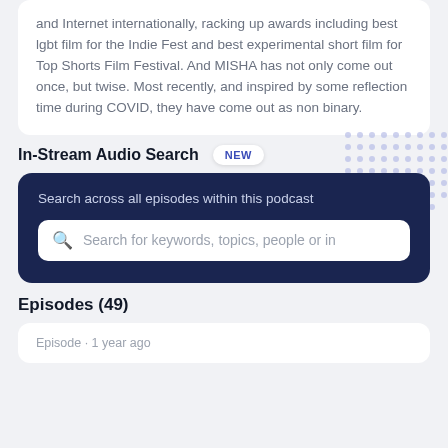and Internet internationally, racking up awards including best lgbt film for the Indie Fest and best experimental short film for Top Shorts Film Festival. And MISHA has not only come out once, but twise. Most recently, and inspired by some reflection time during COVID, they have come out as non binary.
In-Stream Audio Search
NEW
Search across all episodes within this podcast
Search for keywords, topics, people or in
Episodes (49)
Episode · 1 year ago